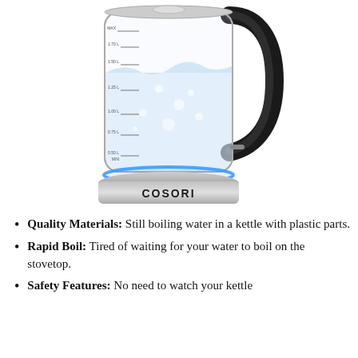[Figure (photo): A COSORI glass electric kettle partially filled with boiling water, showing water level markings (MIN, 0.50L, 0.75L, 1.00L, 1.25L, 1.50L, 1.70L, MAX), a black handle, a glowing blue LED ring at the base, and a stainless steel base with the COSORI brand name.]
Quality Materials: Still boiling water in a kettle with plastic parts.
Rapid Boil: Tired of waiting for your water to boil on the stovetop.
Safety Features: No need to watch your kettle